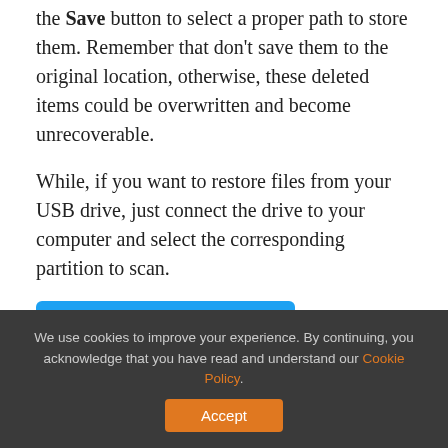the Save button to select a proper path to store them. Remember that don't save them to the original location, otherwise, these deleted items could be overwritten and become unrecoverable.
While, if you want to restore files from your USB drive, just connect the drive to your computer and select the corresponding partition to scan.
[Figure (other): Blue Twitter 'Click to Tweet' button with bird icon]
You see it is very simple to retrieve hard drive files with MiniTool Power Data Recovery. More
We use cookies to improve your experience. By continuing, you acknowledge that you have read and understand our Cookie Policy. Accept